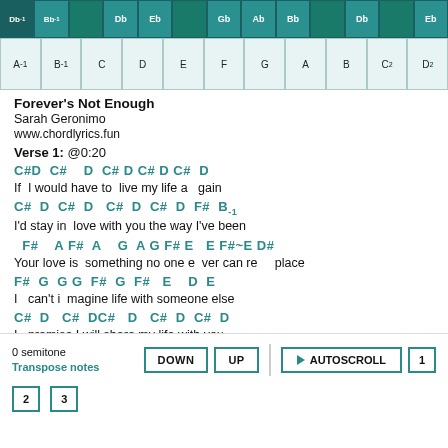[Figure (illustration): Piano keyboard interface with two rows: top row showing black keys (sharps/flats) labeled Db-1, Bb-1, Db, Eb, Gb, Ab, Bb, Db, Eb in teal, and bottom row showing white keys labeled A-1, B-1, C, D, E, F, G, A, B, C2, D2]
Forever's Not Enough
Sarah Geronimo
www.chordlyrics.fun
Verse 1: @0:20
C#D  C#    D  C#  D  C# D C#  D
If  I would have to  live my life a   gain
C#  D  C#  D   C#  D  C#  D  F#  B-1
I'd stay in  love with you the way I've been
F#    A F#  A    G  A G F# E   E F#~E D#
Your love is  something no one e  ver can re     place
F#  G  G G  F#  G  F#   E    D  E
I   can't i  magine life with someone else
C#  D   C#  DC#   D   C#  D  C#  D
I   promise I will share my life with you
0 semitone
Transpose notes
DOWN  UP  AUTOSCROLL  1  2  3